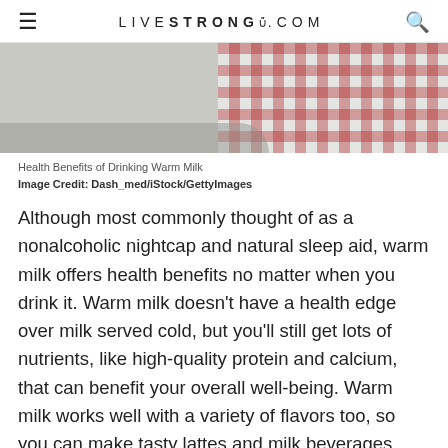LIVESTRONG.COM
[Figure (photo): Partial photo showing a red and white checkered cloth/napkin on a light wooden surface, related to warm milk article]
Health Benefits of Drinking Warm Milk
Image Credit: Dash_med/iStock/GettyImages
Although most commonly thought of as a nonalcoholic nightcap and natural sleep aid, warm milk offers health benefits no matter when you drink it. Warm milk doesn't have a health edge over milk served cold, but you'll still get lots of nutrients, like high-quality protein and calcium, that can benefit your overall well-being. Warm milk works well with a variety of flavors too, so you can make tasty lattes and milk beverages with nutritious ingredients for added benefits.